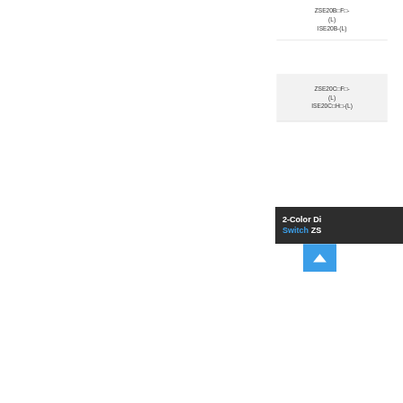ZSE20B□F□-(L)
ISE20B-(L)
ZSE20C□F□-(L)
ISE20C□H□-(L)
[Figure (other): 2-Color Display Digital Pressure Switch ZS banner with blue scroll-up button]